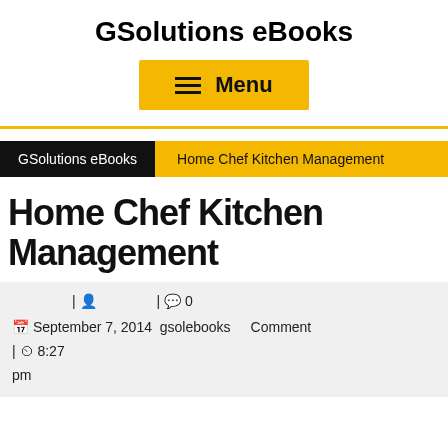GSolutions eBooks
[Figure (other): Yellow menu button with hamburger icon and 'Menu' label]
GSolutions eBooks | Home Chef Kitchen Management
Home Chef Kitchen Management
September 7, 2014  gsolebooks  | 0 Comment  | 8:27 pm